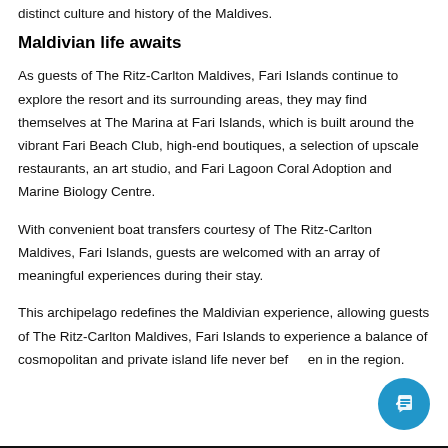distinct culture and history of the Maldives.
Maldivian life awaits
As guests of The Ritz-Carlton Maldives, Fari Islands continue to explore the resort and its surrounding areas, they may find themselves at The Marina at Fari Islands, which is built around the vibrant Fari Beach Club, high-end boutiques, a selection of upscale restaurants, an art studio, and Fari Lagoon Coral Adoption and Marine Biology Centre.
With convenient boat transfers courtesy of The Ritz-Carlton Maldives, Fari Islands, guests are welcomed with an array of meaningful experiences during their stay.
This archipelago redefines the Maldivian experience, allowing guests of The Ritz-Carlton Maldives, Fari Islands to experience a balance of cosmopolitan and private island life never before seen in the region.